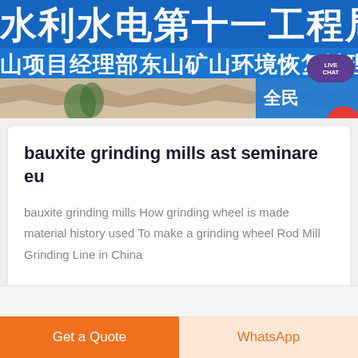[Figure (photo): Banner image showing a Chinese construction company sign with blue background and white Chinese characters reading '水利水电第十一工程局有限' and '山项目经理部东山矿山环境恢复治理项', with a rocky mountain landscape below and a partial view of another blue sign on the right side]
bauxite grinding mills ast seminare eu
bauxite grinding mills How grinding wheel is made material history used To make a grinding wheel Rod Mill Grinding Line in China
Get a Quote
WhatsApp